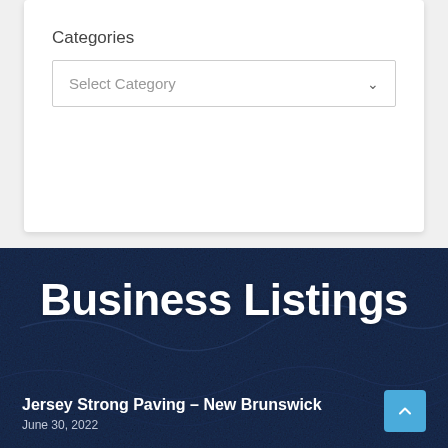Categories
Select Category
Business Listings
Jersey Strong Paving – New Brunswick
June 30, 2022